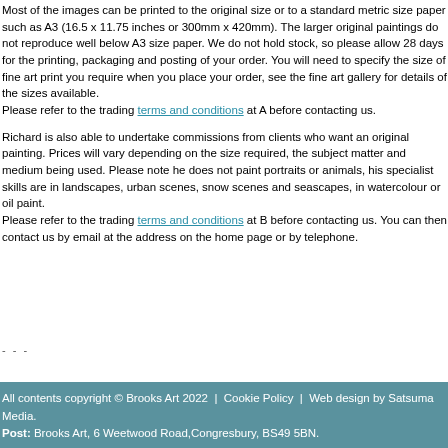Most of the images can be printed to the original size or to a standard metric size paper such as A3 (16.5 x 11.75 inches or 300mm x 420mm). The larger original paintings do not reproduce well below A3 size paper. We do not hold stock, so please allow 28 days for the printing, packaging and posting of your order. You will need to specify the size of fine art print you require when you place your order, see the fine art gallery for details of the sizes available.
Please refer to the trading terms and conditions at A before contacting us.
Richard is also able to undertake commissions from clients who want an original painting. Prices will vary depending on the size required, the subject matter and medium being used. Please note he does not paint portraits or animals, his specialist skills are in landscapes, urban scenes, snow scenes and seascapes, in watercolour or oil paint.
Please refer to the trading terms and conditions at B before contacting us. You can then contact us by email at the address on the home page or by telephone.
All contents copyright © Brooks Art 2022  |  Cookie Policy  |  Web design by Satsuma Media.
Post: Brooks Art, 6 Weetwood Road,Congresbury, BS49 5BN.